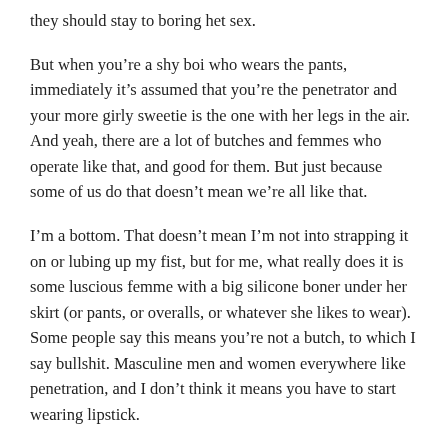they should stay to boring het sex.
But when you're a shy boi who wears the pants, immediately it's assumed that you're the penetrator and your more girly sweetie is the one with her legs in the air. And yeah, there are a lot of butches and femmes who operate like that, and good for them. But just because some of us do that doesn't mean we're all like that.
I'm a bottom. That doesn't mean I'm not into strapping it on or lubing up my fist, but for me, what really does it is some luscious femme with a big silicone boner under her skirt (or pants, or overalls, or whatever she likes to wear). Some people say this means you're not a butch, to which I say bullshit. Masculine men and women everywhere like penetration, and I don't think it means you have to start wearing lipstick.
What other butch misconceptions are out there? Hmm.